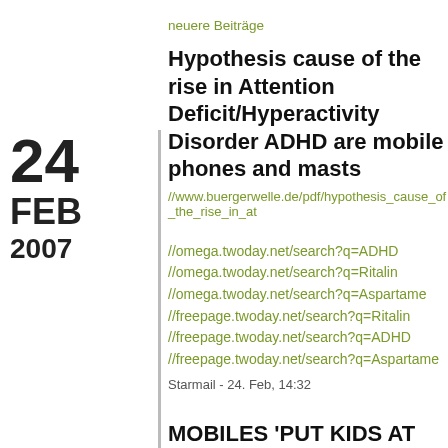neuere Beiträge
Hypothesis cause of the rise in Attention Deficit/Hyperactivity Disorder ADHD are mobile phones and masts
//www.buergerwelle.de/pdf/hypothesis_cause_of_the_rise_in_at
24
FEB
2007
//omega.twoday.net/search?q=ADHD
//omega.twoday.net/search?q=Ritalin
//omega.twoday.net/search?q=Aspartame
//freepage.twoday.net/search?q=Ritalin
//freepage.twoday.net/search?q=ADHD
//freepage.twoday.net/search?q=Aspartame
Starmail - 24. Feb, 14:32
MOBILES 'PUT KIDS AT RISK OF AUTISM AND BRAIN TUMOURS'
Today's (Sat., 24 February, 2007) IRISH INDEPENDENT has given a full page report on Dr. George Carlos's talk on the dangers of non-ionizing radiation, especially radiative emissions from cellphones and masts, at the I.D.E.A.'s (Irish Doctors Environmental Association) in Dublin yesterday afternoon. Dr. Gerd Oberfield also spoke and gave a superbly clear and sombering presentation of the health dangers